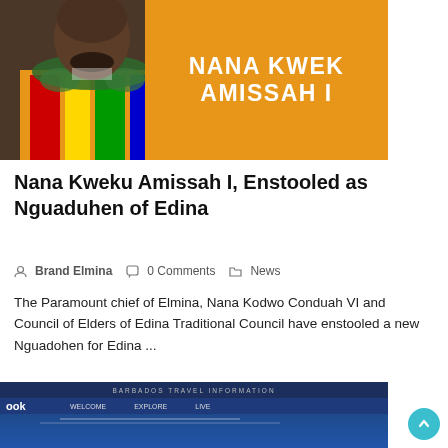[Figure (photo): A man wearing colorful kente cloth with green floral garland, against an orange background with the text NANA KWEK AMISSAH I in white bold uppercase letters]
Nana Kweku Amissah I, Enstooled as Nguaduhen of Edina
Brand Elmina   0 Comments   News
The Paramount chief of Elmina, Nana Kodwo Conduah VI and Council of Elders of Edina Traditional Council have enstooled a new Nguadohen for Edina ...
[Figure (screenshot): Bottom portion of a Barbados travel website screenshot showing navigation bar with Welcome, Explore, Live links on a dark blue background]